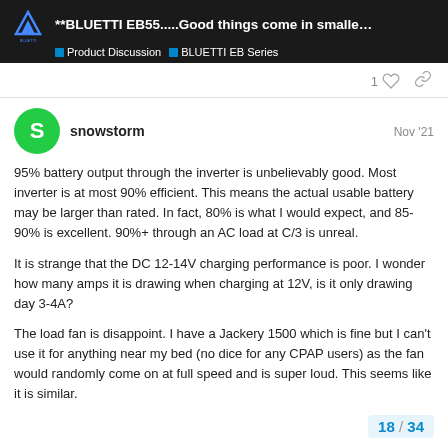**BLUETTI EB55.....Good things come in smalle… | Product Discussion | BLUETTI EB Series
1
snowstorm  Nov '21
95% battery output through the inverter is unbelievably good. Most inverter is at most 90% efficient. This means the actual usable battery may be larger than rated. In fact, 80% is what I would expect, and 85-90% is excellent. 90%+ through an AC load at C/3 is unreal.
It is strange that the DC 12-14V charging performance is poor. I wonder how many amps it is drawing when charging at 12V, is it only drawing day 3-4A?
The load fan is disappoint. I have a Jackery 1500 which is fine but I can't use it for anything near my bed (no dice for any CPAP users) as the fan would randomly come on at full speed and is super loud. This seems like it is similar.
18 / 34